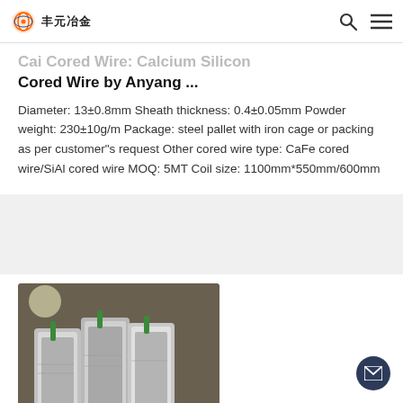丰元冶金
... Cored Wire by Anyang ...
Diameter: 13±0.8mm Sheath thickness: 0.4±0.05mm Powder weight: 230±10g/m Package: steel pallet with iron cage or packing as per customer"s request Other cored wire type: CaFe cored wire/SiAl cored wire MOQ: 5MT Coil size: 1100mm*550mm/600mm
[Figure (photo): Industrial cored wire coils wrapped in silver/metallic packaging, standing upright on a floor in a warehouse or factory setting.]
Calcium Ca – Detectors & Protection Equipment – Dräger